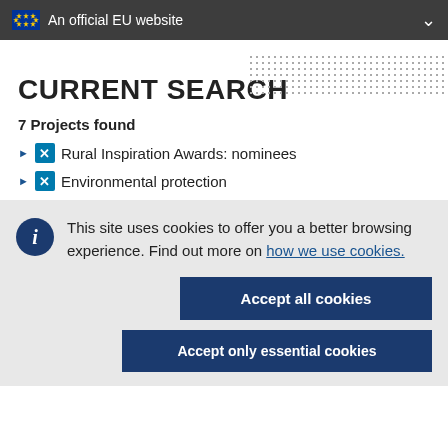An official EU website
CURRENT SEARCH
7 Projects found
Rural Inspiration Awards: nominees
Environmental protection
This site uses cookies to offer you a better browsing experience. Find out more on how we use cookies.
Accept all cookies
Accept only essential cookies